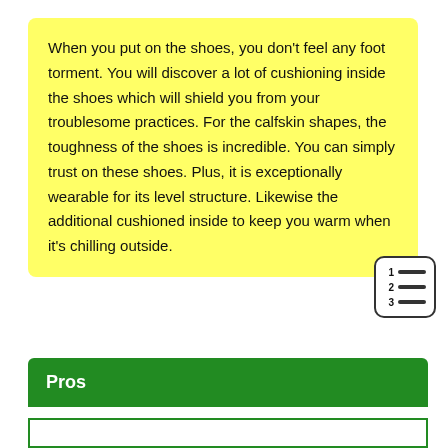When you put on the shoes, you don’t feel any foot torment. You will discover a lot of cushioning inside the shoes which will shield you from your troublesome practices. For the calfskin shapes, the toughness of the shoes is incredible. You can simply trust on these shoes. Plus, it is exceptionally wearable for its level structure. Likewise the additional cushioned inside to keep you warm when it’s chilling outside.
[Figure (other): A small numbered list icon with three rows, each row having a number (1, 2, 3) on the left and a horizontal line to the right, inside a rounded rectangle box.]
Pros